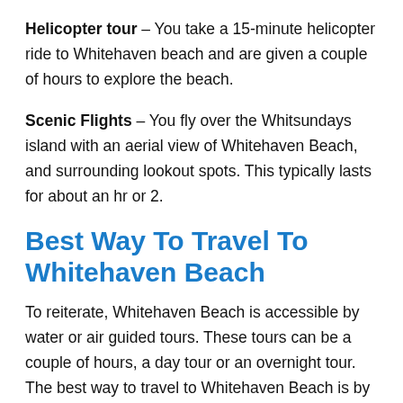Helicopter tour – You take a 15-minute helicopter ride to Whitehaven beach and are given a couple of hours to explore the beach.
Scenic Flights – You fly over the Whitsundays island with an aerial view of Whitehaven Beach, and surrounding lookout spots. This typically lasts for about an hr or 2.
Best Way To Travel To Whitehaven Beach
To reiterate, Whitehaven Beach is accessible by water or air guided tours. These tours can be a couple of hours, a day tour or an overnight tour. The best way to travel to Whitehaven Beach is by taking an